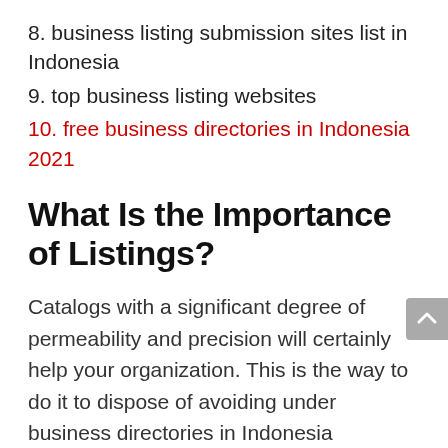8. business listing submission sites list in Indonesia
9. top business listing websites
10. free business directories in Indonesia 2021
What Is the Importance of Listings?
Catalogs with a significant degree of permeability and precision will certainly help your organization. This is the way to do it to dispose of avoiding under business directories in Indonesia
Precise and effectively accessible postings are the two significant variables. It resembles the splendidly shaded neon sign that coordinates the